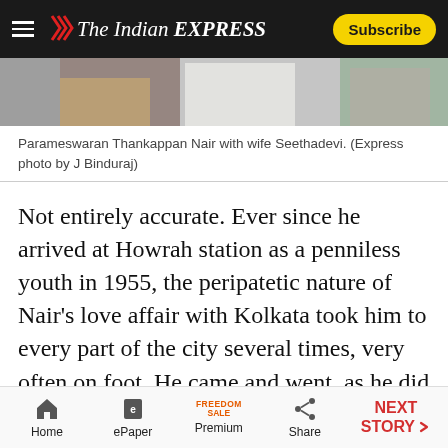The Indian EXPRESS
[Figure (photo): Partial photo of Parameswaran Thankappan Nair with wife Seethadevi, showing torsos and traditional clothing]
Parameswaran Thankappan Nair with wife Seethadevi. (Express photo by J Binduraj)
Not entirely accurate. Ever since he arrived at Howrah station as a penniless youth in 1955, the peripatetic nature of Nair’s love affair with Kolkata took him to every part of the city several times, very often on foot. He came and went, as he did most things, quietly. The tea stall owner, Kumar, said Nair babu would always nod a greeting, which was about as far as their long-time familiarity went.
Home | ePaper | Premium | Share | NEXT STORY